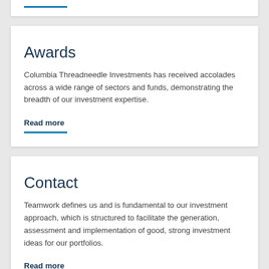Awards
Columbia Threadneedle Investments has received accolades across a wide range of sectors and funds, demonstrating the breadth of our investment expertise.
Read more
Contact
Teamwork defines us and is fundamental to our investment approach, which is structured to facilitate the generation, assessment and implementation of good, strong investment ideas for our portfolios.
Read more